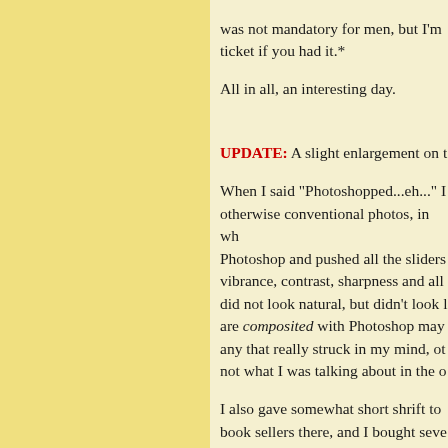was not mandatory for men, but I'm ticket if you had it.*
All in all, an interesting day.
UPDATE: A slight enlargement on t
When I said "Photoshopped...eh..." I otherwise conventional photos, in wh Photoshop and pushed all the sliders vibrance, contrast, sharpness and all did not look natural, but didn't look l are composited with Photoshop may any that really struck in my mind, ot not what I was talking about in the o
I also gave somewhat short shrift to book sellers there, and I bought seve stock would make your mouth water